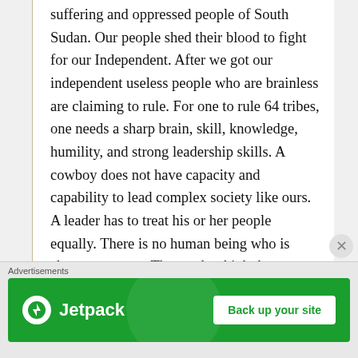suffering and oppressed people of South Sudan. Our people shed their blood to fight for our Independent. After we got our independent useless people who are brainless are claiming to rule. For one to rule 64 tribes, one needs a sharp brain, skill, knowledge, humility, and strong leadership skills. A cowboy does not have capacity and capability to lead complex society like ours. A leader has to treat his or her people equally. There is no human being who is above everyone. Those who think they are born to rule, are
Advertisements
[Figure (other): Jetpack advertisement banner with green background showing Jetpack logo on left and 'Back up your site' button on right]